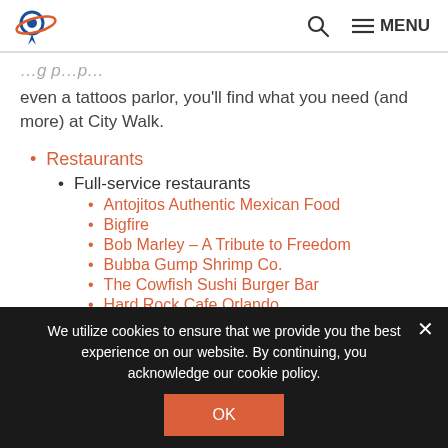Logo | Search | MENU
even a tattoos parlor, you'll find what you need (and more) at City Walk.
Restaurants
Full-service restaurants
Antojitos Authentic Mexican Food
Bigfire
Bob Marley – A Tribute to Freedom
Bubba Gump Shrimp Co.
The Cowfish Sushi Burger Bar
Hard Rock Cafe Orlando
We utilize cookies to ensure that we provide you the best experience on our website. By continuing, you acknowledge our cookie policy.